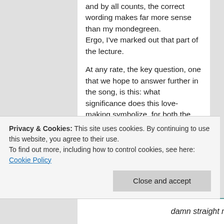and by all counts, the correct wording makes far more sense than my mondegreen. Ergo, I've marked out that part of the lecture.
At any rate, the key question, one that we hope to answer further in the song, is this: what significance does this love-making symbolize, for both the speaker and the reader? "Cum" reeks of transgression, filth, something naughty; but “make love” elides over that graphic detail with the usual lascivious rocker aphorism.
Indeed, the first three lines offer such promising paradoxes – but, as “I Love You, Honeybear” unravels, we soon find the Father eschewing
Privacy & Cookies: This site uses cookies. By continuing to use this website, you agree to their use.
To find out more, including how to control cookies, see here: Cookie Policy
Close and accept
damn straight my lady